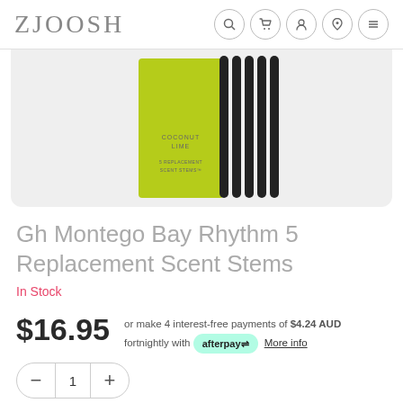ZJOOSH
[Figure (photo): Product image: Gh Montego Bay Rhythm 5 Replacement Scent Stems — yellow-green packaging with black reed diffuser sticks beside it. Text on pack reads 'COCONUT LIME' and '5 REPLACEMENT SCENT STEMS'.]
Gh Montego Bay Rhythm 5 Replacement Scent Stems
In Stock
$16.95
or make 4 interest-free payments of $4.24 AUD fortnightly with afterpay More info